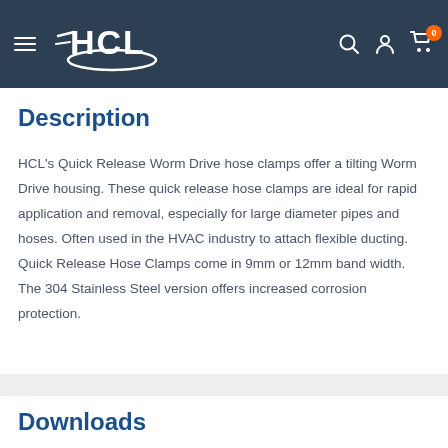HCL navigation bar with logo, search, account, and cart icons
Description
HCL's Quick Release Worm Drive hose clamps offer a tilting Worm Drive housing. These quick release hose clamps are ideal for rapid application and removal, especially for large diameter pipes and hoses. Often used in the HVAC industry to attach flexible ducting. Quick Release Hose Clamps come in 9mm or 12mm band width. The 304 Stainless Steel version offers increased corrosion protection.
Downloads